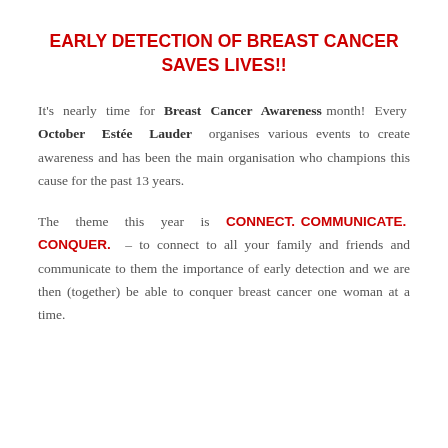EARLY DETECTION OF BREAST CANCER SAVES LIVES!!
It's nearly time for Breast Cancer Awareness month! Every October Estée Lauder organises various events to create awareness and has been the main organisation who champions this cause for the past 13 years.
The theme this year is CONNECT. COMMUNICATE. CONQUER. – to connect to all your family and friends and communicate to them the importance of early detection and we are then (together) be able to conquer breast cancer one woman at a time.